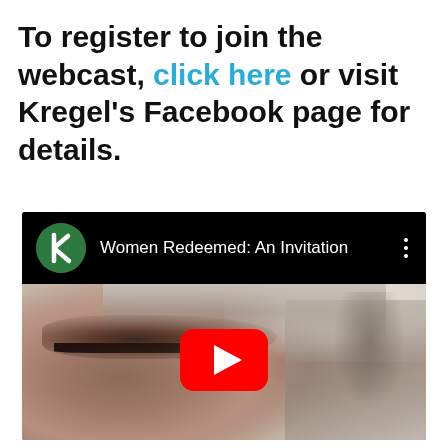To register to join the webcast, click here or visit Kregel's Facebook page for details.
[Figure (screenshot): YouTube video embed showing 'Women Redeemed: An Invitation' with a Kregel publisher logo in the top bar, a close-up photo of a woman's face with eyes closed as the thumbnail, and a red YouTube play button in the center.]